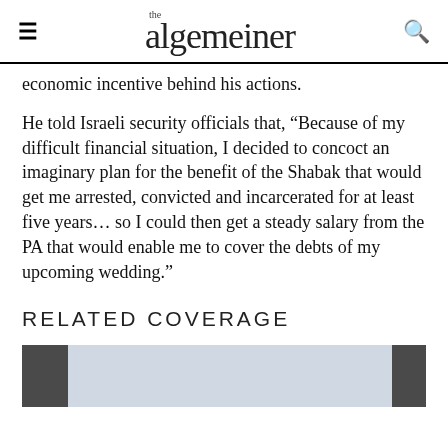the algemeiner
economic incentive behind his actions.
He told Israeli security officials that, “Because of my difficult financial situation, I decided to concoct an imaginary plan for the benefit of the Shabak that would get me arrested, convicted and incarcerated for at least five years… so I could then get a steady salary from the PA that would enable me to cover the debts of my upcoming wedding.”
RELATED COVERAGE
[Figure (photo): Partial image strip showing a light blue/grey central area flanked by dark grey bars on left and right, cropped at bottom of page.]